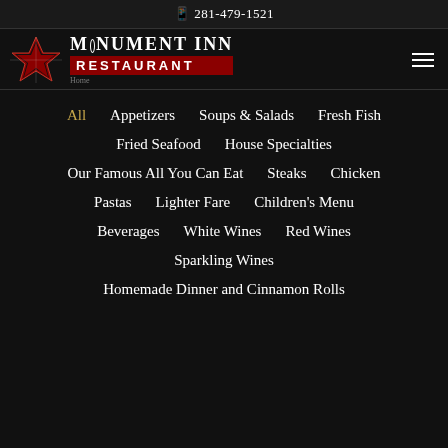281-479-1521
[Figure (logo): Monument Inn Restaurant logo with star emblem, white text 'MONUMENT INN' and red background 'RESTAURANT' banner]
All
Appetizers
Soups & Salads
Fresh Fish
Fried Seafood
House Specialties
Our Famous All You Can Eat
Steaks
Chicken
Pastas
Lighter Fare
Children's Menu
Beverages
White Wines
Red Wines
Sparkling Wines
Homemade Dinner and Cinnamon Rolls